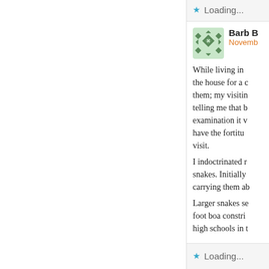Loading...
Barb B
Novemb...
While living in the house for a c them; my visitin telling me that b examination it v have the fortitu visit.
I indoctrinated r snakes. Initially carrying them ab
Larger snakes se foot boa constri high schools in t
Loading...
Imm...